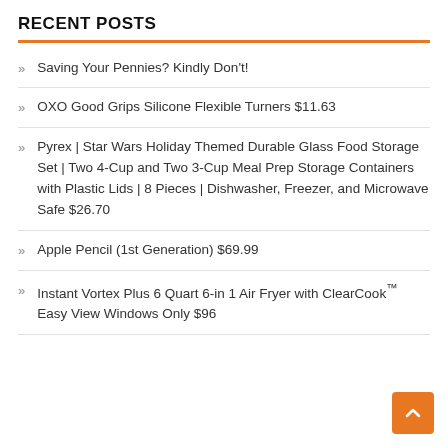RECENT POSTS
Saving Your Pennies? Kindly Don't!
OXO Good Grips Silicone Flexible Turners $11.63
Pyrex | Star Wars Holiday Themed Durable Glass Food Storage Set | Two 4-Cup and Two 3-Cup Meal Prep Storage Containers with Plastic Lids | 8 Pieces | Dishwasher, Freezer, and Microwave Safe $26.70
Apple Pencil (1st Generation) $69.99
Instant Vortex Plus 6 Quart 6-in 1 Air Fryer with ClearCook™ Easy View Windows Only $96